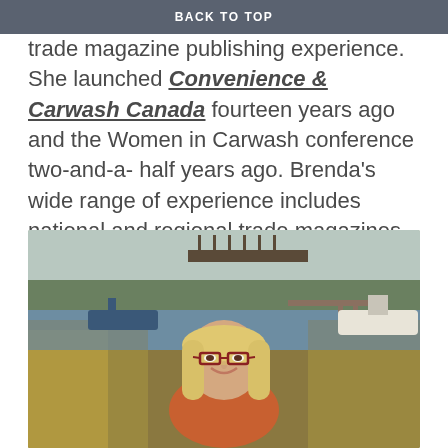BACK TO TOP
trade magazine publishing experience. She launched Convenience & Carwash Canada fourteen years ago and the Women in Carwash conference two-and-a-half years ago. Brenda's wide range of experience includes national and regional trade magazines, national and regional Tradeshow organizing, corporate event planning, golf tournament organization and more.
[Figure (photo): Woman with long blonde hair and red glasses, smiling outdoors near a marina/waterway with tall grass, boats, and a wooden bridge structure in the background. She is wearing an orange/rust colored top.]